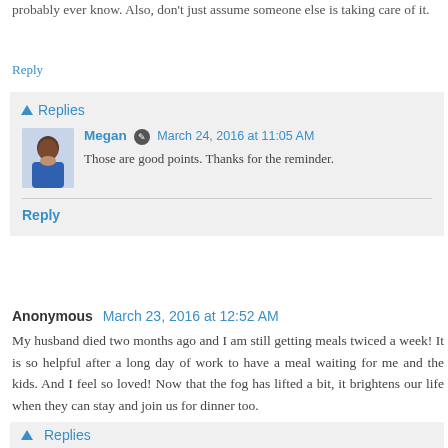probably ever know. Also, don't just assume someone else is taking care of it.
Reply
Replies
Megan  March 24, 2016 at 11:05 AM
Those are good points. Thanks for the reminder.
Reply
Anonymous  March 23, 2016 at 12:52 AM
My husband died two months ago and I am still getting meals twiced a week! It is so helpful after a long day of work to have a meal waiting for me and the kids. And I feel so loved! Now that the fog has lifted a bit, it brightens our life when they can stay and join us for dinner too.
Reply
Replies